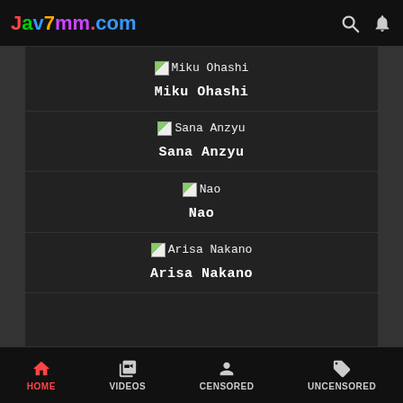Jav7mm.com
Miku Ohashi
Sana Anzyu
Nao
Arisa Nakano
HOME | VIDEOS | CENSORED | UNCENSORED